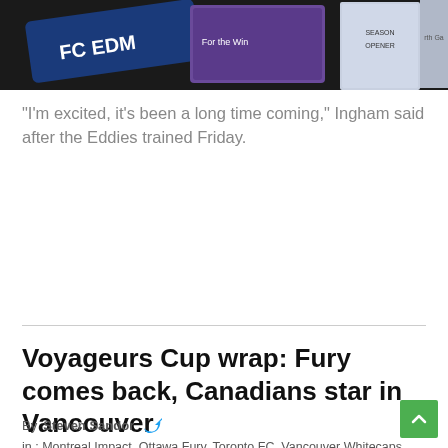[Figure (photo): Top portion of a photo showing merchandise/display table with FC Edmonton and other soccer team materials including posters and magazines]
“I’m excited, it’s been a long time coming,” Ingham said after the Eddies trained Friday.
Voyageurs Cup wrap: Fury comes back, Canadians star in Vancouver
By Steven Sandor
in : Montreal Impact, Ottawa Fury, Toronto FC, Vancouver Whitecaps, Voyageurs Cup
[Figure (photo): Soccer player in red jersey celebrating with crowd in background at a stadium]